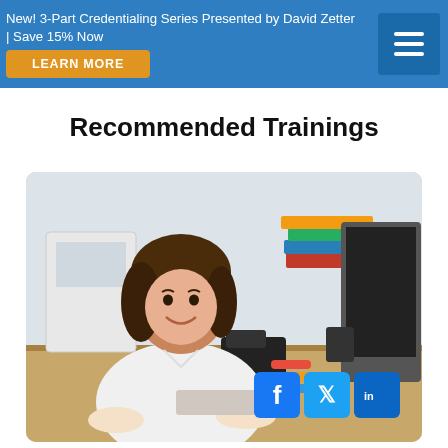New! 3-Part Credentialing Series Presented by David Zetter | Save 15% Now LEARN MORE
Recommended Trainings
[Figure (photo): Young woman in white blouse sitting at office desk, smiling at camera, with computer monitor, telephone, books, and office supplies visible in background. Social media icons (Facebook, Twitter, LinkedIn) overlaid in bottom right.]